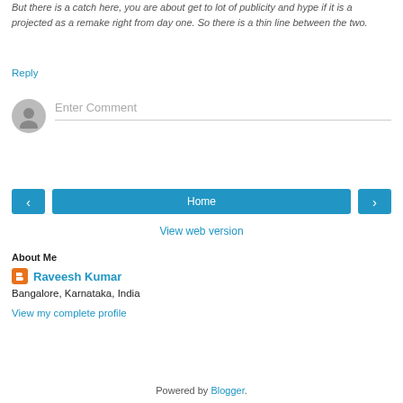But there is a catch here, you are about get to lot of publicity and hype if it is a projected as a remake right from day one. So there is a thin line between the two.
Reply
[Figure (other): User avatar placeholder circle with person silhouette icon]
Enter Comment
[Figure (other): Navigation buttons: left arrow, Home, right arrow]
View web version
About Me
Raveesh Kumar
Bangalore, Karnataka, India
View my complete profile
Powered by Blogger.